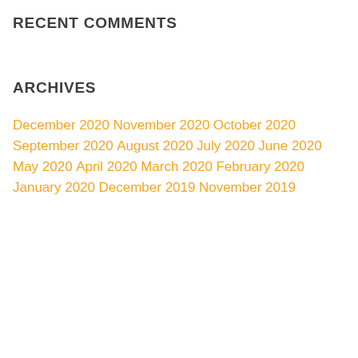RECENT COMMENTS
ARCHIVES
December 2020
November 2020
October 2020
September 2020
August 2020
July 2020
June 2020
May 2020
April 2020
March 2020
February 2020
January 2020
December 2019
November 2019